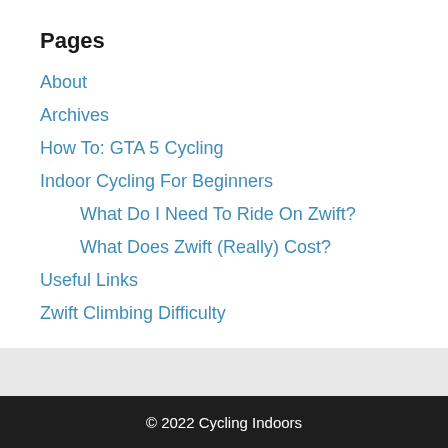Pages
About
Archives
How To: GTA 5 Cycling
Indoor Cycling For Beginners
What Do I Need To Ride On Zwift?
What Does Zwift (Really) Cost?
Useful Links
Zwift Climbing Difficulty
© 2022 Cycling Indoors